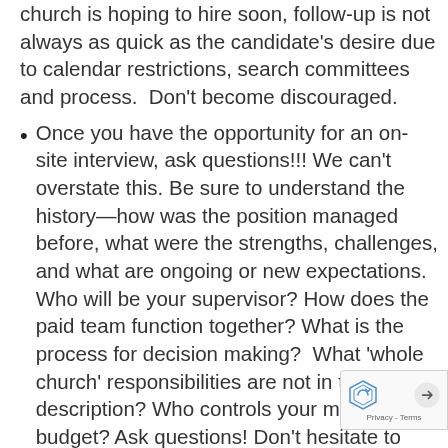church is hoping to hire soon, follow-up is not always as quick as the candidate's desire due to calendar restrictions, search committees and process.  Don't become discouraged.
Once you have the opportunity for an on-site interview, ask questions!!! We can't overstate this. Be sure to understand the history—how was the position managed before, what were the strengths, challenges, and what are ongoing or new expectations. Who will be your supervisor? How does the paid team function together? What is the process for decision making?  What 'whole church' responsibilities are not in the job description? Who controls your ministry budget? Ask questions! Don't hesitate to create a list for an interview process. Be as prepared to interview the church, as the church is to interview you. Don't find yourself surprised by position requirements once you move into your